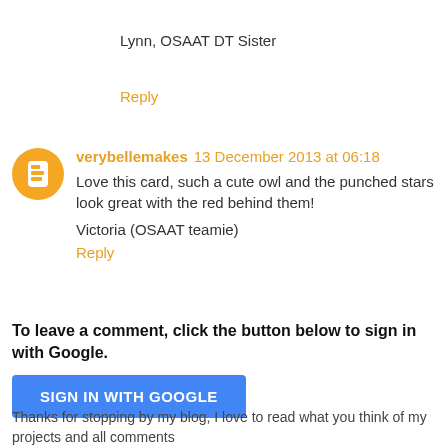Lynn, OSAAT DT Sister
Reply
verybellemakes 13 December 2013 at 06:18
Love this card, such a cute owl and the punched stars look great with the red behind them!
Victoria (OSAAT teamie)
Reply
To leave a comment, click the button below to sign in with Google.
SIGN IN WITH GOOGLE
Thanks for stopping by my blog, I love to read what you think of my projects and all comments